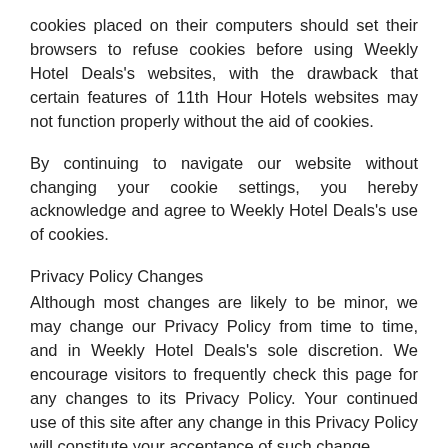cookies placed on their computers should set their browsers to refuse cookies before using Weekly Hotel Deals's websites, with the drawback that certain features of 11th Hour Hotels websites may not function properly without the aid of cookies.
By continuing to navigate our website without changing your cookie settings, you hereby acknowledge and agree to Weekly Hotel Deals's use of cookies.
Privacy Policy Changes
Although most changes are likely to be minor, we may change our Privacy Policy from time to time, and in Weekly Hotel Deals's sole discretion. We encourage visitors to frequently check this page for any changes to its Privacy Policy. Your continued use of this site after any change in this Privacy Policy will constitute your acceptance of such change.